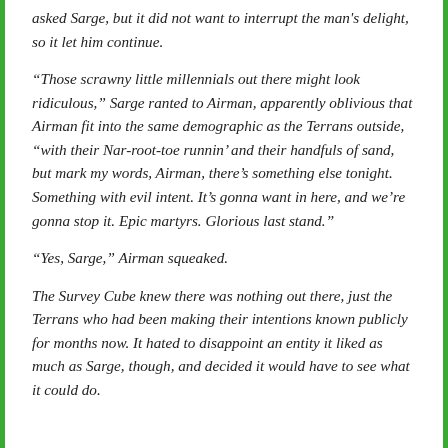asked Sarge, but it did not want to interrupt the man's delight, so it let him continue.
“Those scrawny little millennials out there might look ridiculous,” Sarge ranted to Airman, apparently oblivious that Airman fit into the same demographic as the Terrans outside, “with their Nar-root-toe runnin’ and their handfuls of sand, but mark my words, Airman, there’s something else tonight. Something with evil intent. It’s gonna want in here, and we’re gonna stop it. Epic martyrs. Glorious last stand.”
“Yes, Sarge,” Airman squeaked.
The Survey Cube knew there was nothing out there, just the Terrans who had been making their intentions known publicly for months now. It hated to disappoint an entity it liked as much as Sarge, though, and decided it would have to see what it could do.